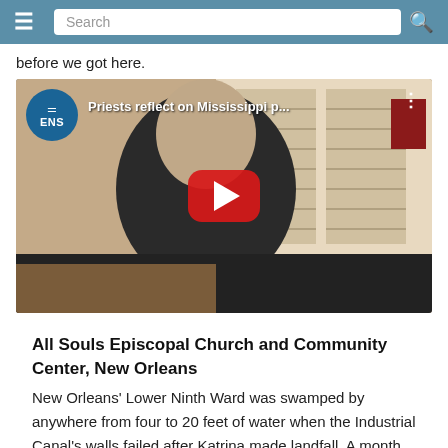Search
before we got here.
[Figure (screenshot): YouTube video thumbnail showing a priest in black clerical attire seated in a room with white shuttered windows. ENS logo circle in top-left. Title text: 'Priests reflect on Mississippi p...' Red YouTube play button centered.]
All Souls Episcopal Church and Community Center, New Orleans
New Orleans' Lower Ninth Ward was swamped by anywhere from four to 20 feet of water when the Industrial Canal's walls failed after Katrina made landfall. A month after Katrina Hurricane Rita flooded the neighborhood...